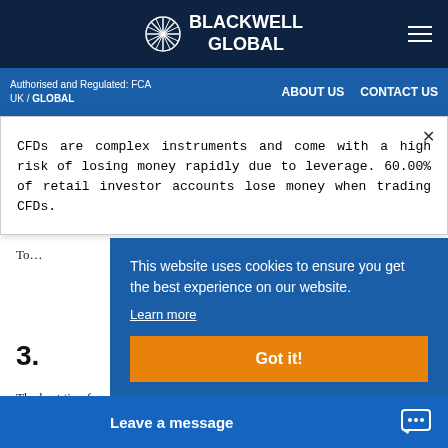BLACKWELL GLOBAL
Authorised and Regulated: FCA UK / GLOBAL   ABOUT US   CONTACT US
CFDs are complex instruments and come with a high risk of losing money rapidly due to leverage. 60.00% of retail investor accounts lose money when trading CFDs.
direction of the breakout, on that particular level. Once a qualified breakout has been spotted, there will be sufficient order flow on that level from big players. So, a trader can take...
3.
The best timeframe
This website uses cookies to ensure you get the best experience on our website.
Learn more
Got it!
Leave a message